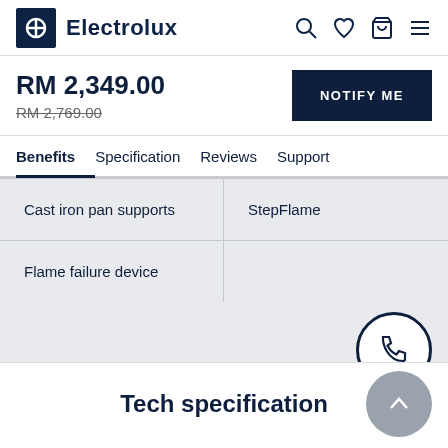Electrolux
RM 2,349.00
RM 2,769.00
NOTIFY ME
Benefits  Specification  Reviews  Support
Cast iron pan supports
StepFlame
Flame failure device
Tech specification